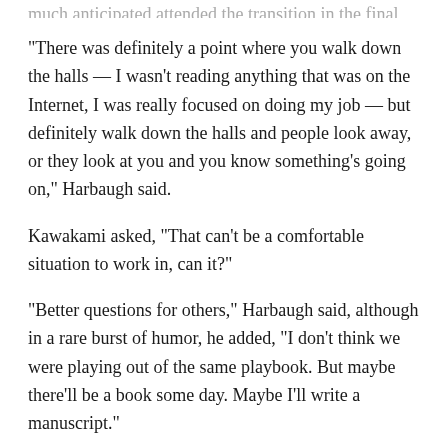much anticipated attended the transition in the final days.
“There was definitely a point where you walk down the halls — I wasn’t reading anything that was on the Internet, I was really focused on doing my job — but definitely walk down the halls and people look away, or they look at you and you know something’s going on,” Harbaugh said.
Kawakami asked, “That can’t be a comfortable situation to work in, can it?”
“Better questions for others,” Harbaugh said, although in a rare burst of humor, he added, “I don’t think we were playing out of the same playbook. But maybe there’ll be a book some day. Maybe I’ll write a manuscript.”
Kawakami also asked Harbaugh whether he would have emulated Seahawks coach and archrival Pete Carroll in the